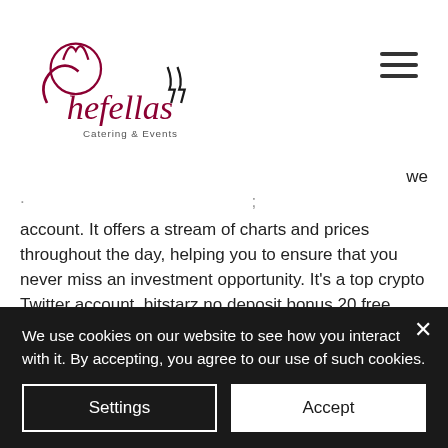[Figure (logo): Chefellas Catering & Events logo with stylized script text and chef/wine glass silhouettes]
we
· · ·
account. It offers a stream of charts and prices throughout the day, helping you to ensure that you never miss an investment opportunity. It's a top crypto Twitter account, bitstarz no deposit bonus 20 free spins. Ricardo Spagni is one of only two Monero developers who have revealed their true identity.
The game looks good visually and the representation of you mining bitcoin in the
We use cookies on our website to see how you interact with it. By accepting, you agree to our use of such cookies.